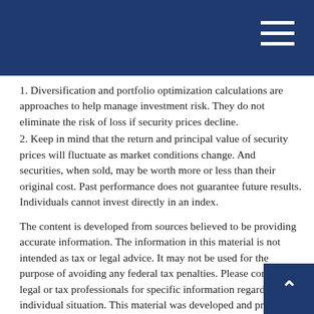1. Diversification and portfolio optimization calculations are approaches to help manage investment risk. They do not eliminate the risk of loss if security prices decline.
2. Keep in mind that the return and principal value of security prices will fluctuate as market conditions change. And securities, when sold, may be worth more or less than their original cost. Past performance does not guarantee future results. Individuals cannot invest directly in an index.
The content is developed from sources believed to be providing accurate information. The information in this material is not intended as tax or legal advice. It may not be used for the purpose of avoiding any federal tax penalties. Please consult legal or tax professionals for specific information regarding your individual situation. This material was developed and produced by FMG Suite to provide information on a topic that may be of interest. FMG Suite is not affiliated with the named broker-dealer, state- or SEC-registered investment advisory firm. The opinions